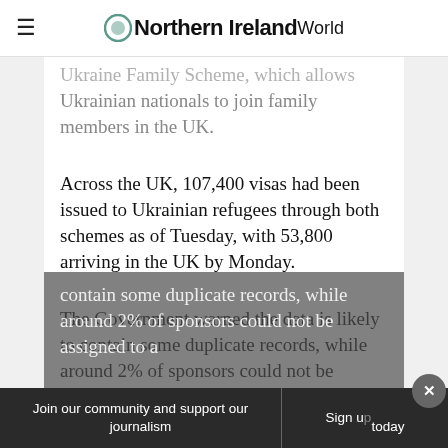Northern Ireland World
Ukraine Family Scheme, which allows Ukrainian nationals to join family members in the UK.
Across the UK, 107,400 visas had been issued to Ukrainian refugees through both schemes as of Tuesday, with 53,800 arriving in the UK by Monday.
The Government warned the data is likely to contain some duplicate records, while around 2% of sponsors could not be assigned to a
Join our community and support our journalism | Sign up today